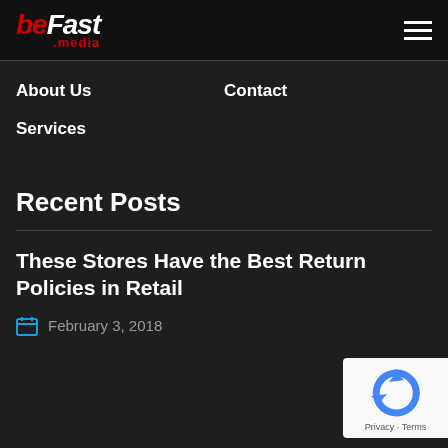BeFast.media
About Us
Contact
Services
Recent Posts
These Stores Have the Best Return Policies in Retail
February 3, 2018
[Figure (logo): reCAPTCHA logo with Privacy - Terms text]